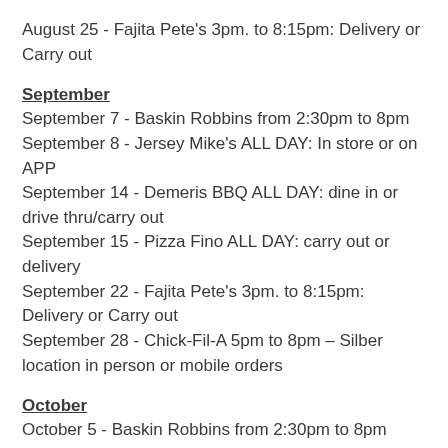August 25 - Fajita Pete's 3pm. to 8:15pm: Delivery or Carry out
September
September 7 - Baskin Robbins from 2:30pm to 8pm
September 8 - Jersey Mike's ALL DAY: In store or on APP
September 14 - Demeris BBQ ALL DAY: dine in or drive thru/carry out
September 15 - Pizza Fino ALL DAY: carry out or delivery
September 22 - Fajita Pete's 3pm. to 8:15pm: Delivery or Carry out
September 28 - Chick-Fil-A 5pm to 8pm – Silber location in person or mobile orders
October
October 5 - Baskin Robbins from 2:30pm to 8pm
October 12 - Demeris BBQ ALL DAY: dine in or drive thru/carry out
October 13 - Jersey Mike's ALL DAY: In store or on APP